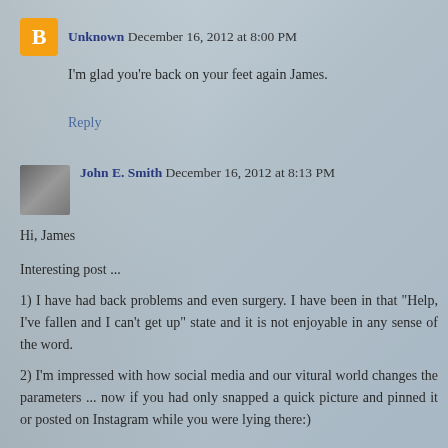Unknown  December 16, 2012 at 8:00 PM
I'm glad you're back on your feet again James.
Reply
John E. Smith  December 16, 2012 at 8:13 PM
Hi, James

Interesting post ...

1) I have had back problems and even surgery. I have been in that "Help, I've fallen and I can't get up" state and it is not enjoyable in any sense of the word.

2) I'm impressed with how social media and our vitural world changes the parameters ... now if you had only snapped a quick picture and pinned it or posted on Instagram while you were lying there:)